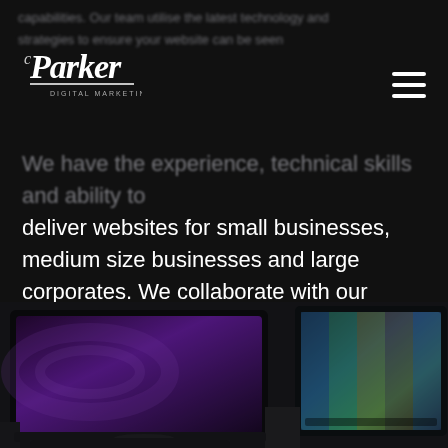Parker Digital Marketing
We have the experience, technical skills and ability to deliver websites for small businesses, medium size businesses and large corporates. We collaborate with our clients to craft winning websites. Get in touch today for a free discussion.
[Figure (photo): Photo of two laptops side by side on a desk viewed from above, one showing a purple galaxy screensaver, the other showing a colorful abstract display, with a third laptop partially visible at the bottom.]